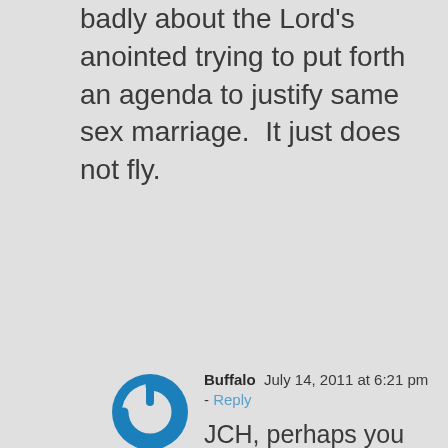badly about the Lord's anointed trying to put forth an agenda to justify same sex marriage.  It just does not fly.
[Figure (logo): Blue circular power button icon used as user avatar]
Buffalo  July 14, 2011 at 6:21 pm - Reply
JCH, perhaps you could tell us more about your own same-sex attraction. When you went out to the park to beat up gay people, do you think you were really trying to